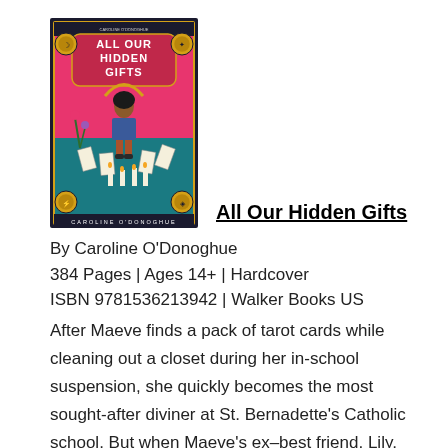[Figure (illustration): Book cover of 'All Our Hidden Gifts' by Caroline O'Donoghue. Pink and teal illustrated cover showing a girl in school uniform sitting with tarot cards, surrounded by mystical imagery, candles, and decorative gold medallions in corners.]
All Our Hidden Gifts
By Caroline O'Donoghue
384 Pages | Ages 14+ | Hardcover
ISBN 9781536213942 | Walker Books US
After Maeve finds a pack of tarot cards while cleaning out a closet during her in-school suspension, she quickly becomes the most sought-after diviner at St. Bernadette's Catholic school. But when Maeve's ex–best friend, Lily, draws an unsettling card called The Housekeeper that Maeve has never seen before, the